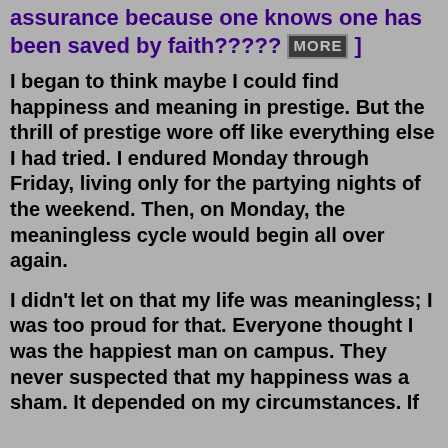assurance because one knows one has been saved by faith????? MORE ]
I began to think maybe I could find happiness and meaning in prestige. But the thrill of prestige wore off like everything else I had tried. I endured Monday through Friday, living only for the partying nights of the weekend. Then, on Monday, the meaningless cycle would begin all over again.
I didn’t let on that my life was meaningless; I was too proud for that. Everyone thought I was the happiest man on campus. They never suspected that my happiness was a sham. It depended on my circumstances. If